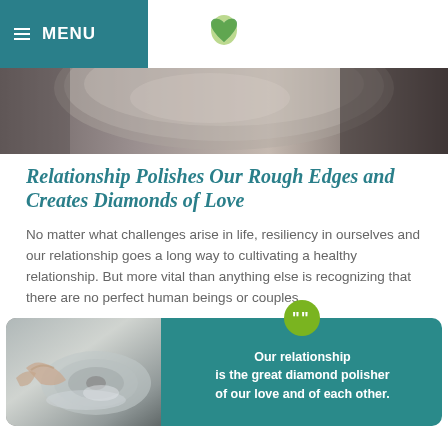≡ MENU
[Figure (photo): Close-up photo of a diamond polishing or grinding machine wheel, metallic surface with machinery parts visible.]
Relationship Polishes Our Rough Edges and Creates Diamonds of Love
No matter what challenges arise in life, resiliency in ourselves and our relationship goes a long way to cultivating a healthy relationship. But more vital than anything else is recognizing that there are no perfect human beings or couples.
[Figure (photo): Image of hands working on a spinning wheel/diamond polishing machine on the left, overlaid with a teal quote box on the right reading: Our relationship is the great diamond polisher of our love and of each other.]